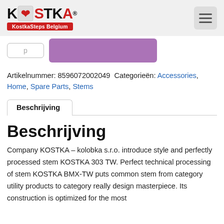[Figure (logo): KOSTKA logo with KostkaSteps Belgium red tag beneath]
p  [button partially visible]
Artikelnummer: 8596072002049  Categorieën: Accessories, Home, Spare Parts, Stems
Beschrijving (tab)
Beschrijving
Company KOSTKA – kolobka s.r.o. introduce style and perfectly processed stem KOSTKA 303 TW. Perfect technical processing of stem KOSTKA BMX-TW puts common stem from category utility products to category really design masterpiece. Its construction is optimized for the most